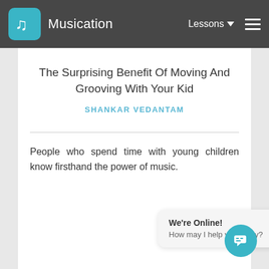Musication — Lessons
The Surprising Benefit Of Moving And Grooving With Your Kid
SHANKAR VEDANTAM
People who spend time with young children know firsthand the power of music.
[Figure (screenshot): Live chat widget showing 'We're Online! How may I help you today?' with teal chat button]